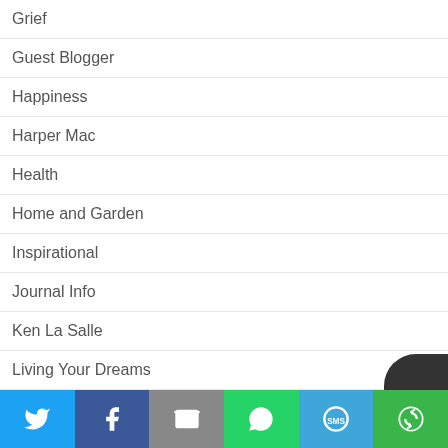Grief
Guest Blogger
Happiness
Harper Mac
Health
Home and Garden
Inspirational
Journal Info
Ken La Salle
Living Your Dreams
Mindfulness
[Figure (infographic): Social share bar with Twitter, Facebook, Email, WhatsApp, SMS, and More buttons]